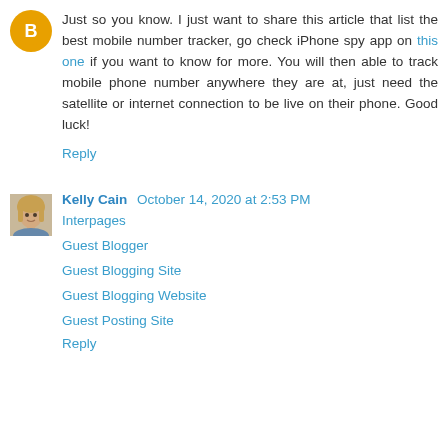Just so you know. I just want to share this article that list the best mobile number tracker, go check iPhone spy app on this one if you want to know for more. You will then able to track mobile phone number anywhere they are at, just need the satellite or internet connection to be live on their phone. Good luck!
Reply
Kelly Cain  October 14, 2020 at 2:53 PM
Interpages
Guest Blogger
Guest Blogging Site
Guest Blogging Website
Guest Posting Site
Reply